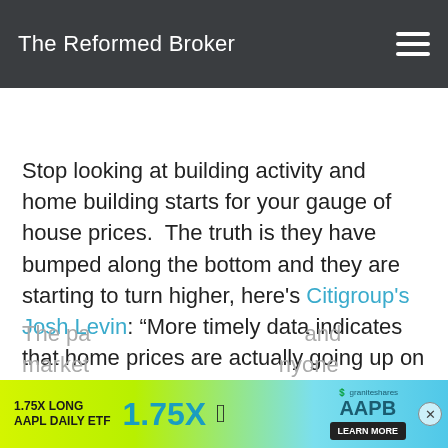The Reformed Broker
Stop looking at building activity and home building starts for your gauge of house prices.  The truth is they have bumped along the bottom and they are starting to turn higher, here's Citigroup's Josh Levin: “More timely data indicates that home prices are actually going up on a m/m basis and have been doing so since February”.
The pa... and market... anyone
[Figure (other): Advertisement banner: 1.75X LONG AAPL DAILY ETF, 1.75X, Apple logo, AAPB, GraniteShares, LEARN MORE button]